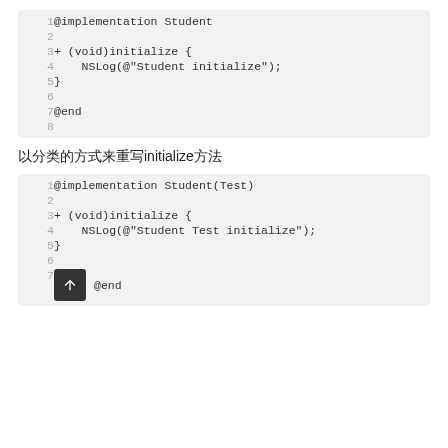[Figure (screenshot): Code block showing Objective-C @implementation Student with + (void)initialize { NSLog(@"Student initialize"); } @end, lines 1-8]
以分类的方式来重写initialize方法
[Figure (screenshot): Code block showing Objective-C @implementation Student(Test) with + (void)initialize { NSLog(@"Student Test initialize"); } @end, lines 1-7]